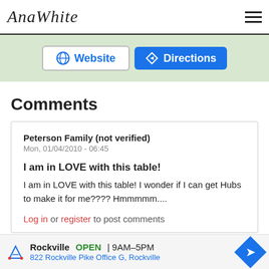AnaWhite
[Figure (screenshot): Map strip showing Website and Directions buttons]
Comments
Peterson Family (not verified)
Mon, 01/04/2010 - 06:45

I am in LOVE with this table!

I am in LOVE with this table! I wonder if I can get Hubs to make it for me???? Hmmmmm....

Log in or register to post comments
[Figure (screenshot): Bottom advertisement bar: Rockville OPEN 9AM-5PM, 822 Rockville Pike Office G, Rockville]